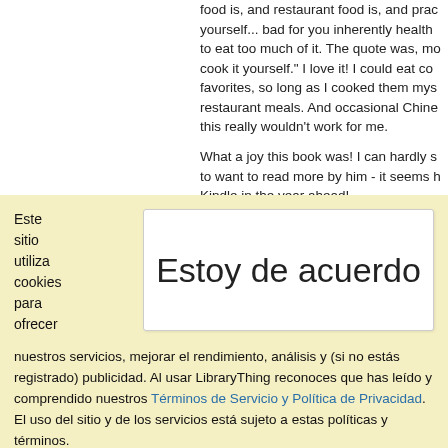food is, and restaurant food is, and practice yourself... bad for you inherently healthy to eat too much of it. The quote was, mo cook it yourself." I love it! I could eat co favorites, so long as I cooked them mys restaurant meals. And occasional Chine this really wouldn't work for me.

What a joy this book was! I can hardly s to want to read more by him - it seems h Kindle in the year ahead!
(★★★★)
Este sitio utiliza cookies para ofrecer
Estoy de acuerdo
nuestros servicios, mejorar el rendimiento, análisis y (si no estás registrado) publicidad. Al usar LibraryThing reconoces que has leído y comprendido nuestros Términos de Servicio y Política de Privacidad. El uso del sitio y de los servicios está sujeto a estas políticas y términos.